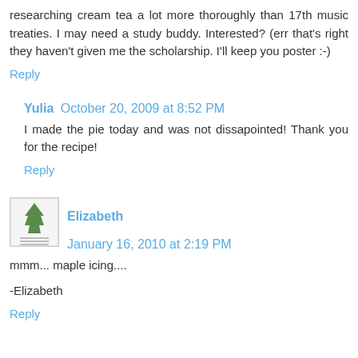researching cream tea a lot more thoroughly than 17th music treaties. I may need a study buddy. Interested? (err that's right they haven't given me the scholarship. I'll keep you poster :-)
Reply
Yulia  October 20, 2009 at 8:52 PM
I made the pie today and was not dissapointed! Thank you for the recipe!
Reply
Elizabeth  January 16, 2010 at 2:19 PM
mmm... maple icing....
-Elizabeth
Reply